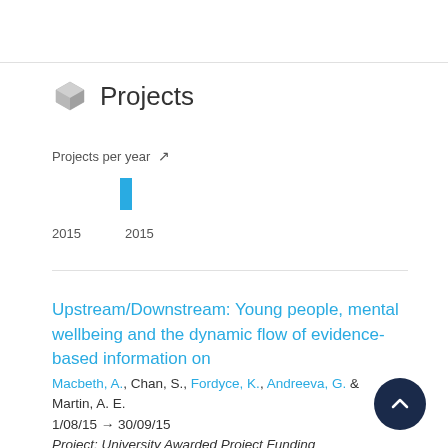Projects
[Figure (bar-chart): Projects per year]
Upstream/Downstream: Young people, mental wellbeing and the dynamic flow of evidence-based information on
Macbeth, A., Chan, S., Fordyce, K., Andreeva, G. & Martin, A. E.
1/08/15 → 30/09/15
Project: University Awarded Project Funding